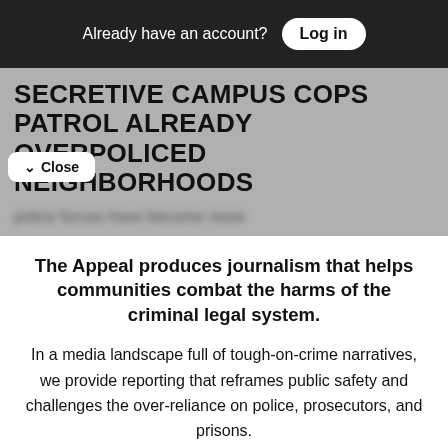Already have an account? Log in
SECRETIVE CAMPUS COPS PATROL ALREADY OVERPOLICED NEIGHBORHOODS
police forces have become more
The Appeal produces journalism that helps communities combat the harms of the criminal legal system.
In a media landscape full of tough-on-crime narratives, we provide reporting that reframes public safety and challenges the over-reliance on police, prosecutors, and prisons. Sign up today to receive our weekly newsletter and all of the latest updates.
Free Newsletters 1